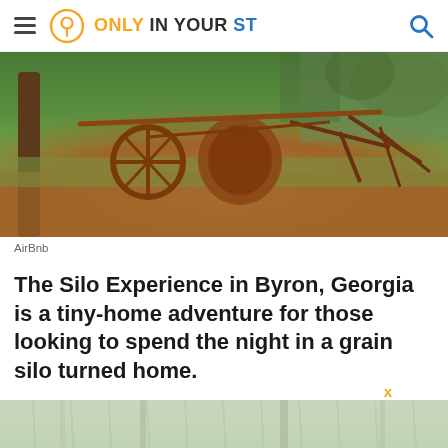ONLY IN YOUR ST
[Figure (photo): Rusty antique farm plow/cultivator equipment displayed on grass and pine needle mulch outdoors, photographed from AirBnb listing]
AirBnb
The Silo Experience in Byron, Georgia is a tiny-home adventure for those looking to spend the night in a grain silo turned home.
[Figure (photo): Blurred/faded image of trees with light greenish-white tones, partially visible at bottom of page]